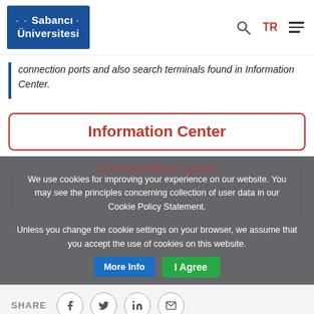[Figure (logo): Sabancı Üniversitesi logo — white text on dark blue background]
connection ports and also search terminals found in Information Center.
Information Center
We use cookies for improving your experience on our website. You may see the principles concerning collection of user data in our Cookie Policy Statement. Unless you change the cookie settings on your browser, we assume that you accept the use of cookies on this website.
I Agree
More Info
SHARE